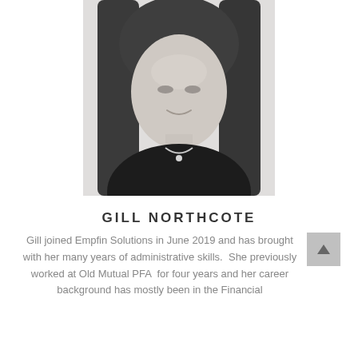[Figure (photo): Black and white headshot photo of Gill Northcote, a woman with long straight hair, smiling, wearing a dark jacket with a necklace]
GILL NORTHCOTE
Gill joined Empfin Solutions in June 2019 and has brought with her many years of administrative skills.  She previously worked at Old Mutual PFA  for four years and her career background has mostly been in the Financial